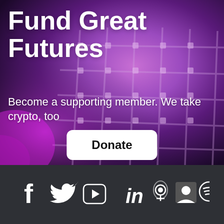Fund Great Futures
Become a supporting member. We take crypto, too
[Figure (other): White rounded-corner Donate button over abstract purple/mauve 3D woven lattice structure background]
[Figure (other): Dark footer bar with social media icons: Facebook, Twitter, YouTube, LinkedIn, Podcast, Google, Spotify]